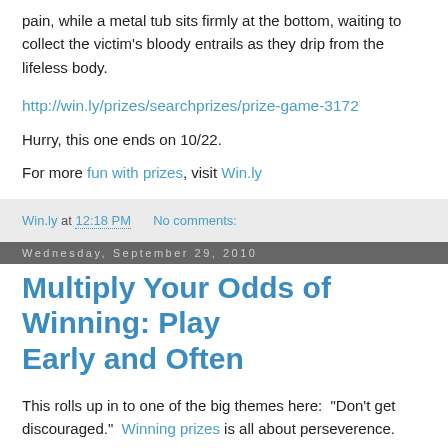pain, while a metal tub sits firmly at the bottom, waiting to collect the victim's bloody entrails as they drip from the lifeless body.
http://win.ly/prizes/searchprizes/prize-game-3172
Hurry, this one ends on 10/22.
For more fun with prizes, visit Win.ly
Win.ly at 12:18 PM   No comments:
Wednesday, September 29, 2010
Multiply Your Odds of Winning: Play Early and Often
This rolls up in to one of the big themes here:  "Don't get discouraged."  Winning prizes is all about perseverence.